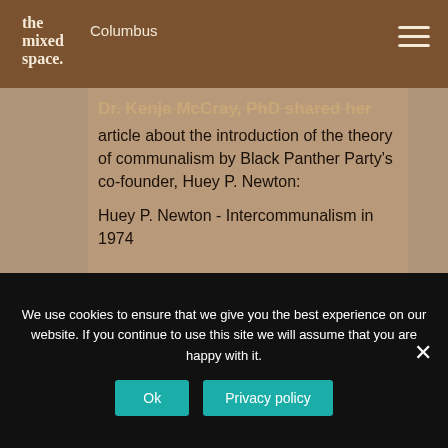[Figure (logo): The Mixed Space logo - white serif text on brown background]
Columbus
Dr. Kenja McCray, PhD shared her article about the introduction of the theory of communalism by Black Panther Party's co-founder, Huey P. Newton:
Huey P. Newton - Intercommunalism in 1974
Dr. McCray also generously shared her research on the Oyotunii Village, the
We use cookies to ensure that we give you the best experience on our website. If you continue to use this site we will assume that you are happy with it.